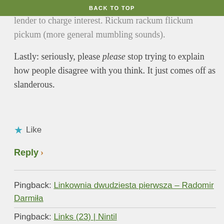BACK TO TOP
effectively lie about the product, and still allows the lender to charge interest. Rickum rackum flickum pickum (more general mumbling sounds).
Lastly: seriously, please please stop trying to explain how people disagree with you think. It just comes off as slanderous.
★ Like
Reply ›
Pingback: Linkownia dwudziesta pierwsza – Radomir Darmiła
Pingback: Links (23) | Nintil